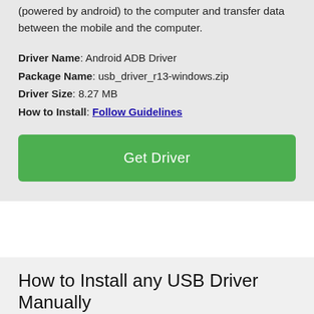(powered by android) to the computer and transfer data between the mobile and the computer.
Driver Name: Android ADB Driver
Package Name: usb_driver_r13-windows.zip
Driver Size: 8.27 MB
How to Install: Follow Guidelines
Get Driver
How to Install any USB Driver Manually
1. Download and extract the USB driver on the